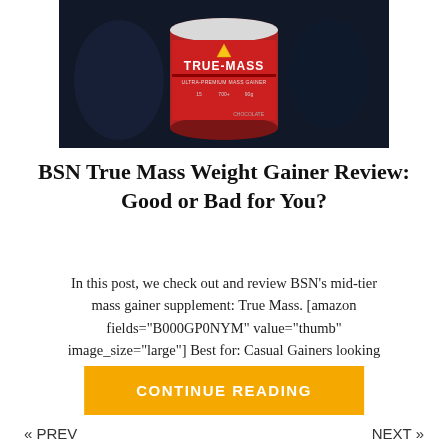[Figure (photo): Product image of BSN True-Mass supplement tub (red/black label) against a dark background]
BSN True Mass Weight Gainer Review: Good or Bad for You?
In this post, we check out and review BSN's mid-tier mass gainer supplement: True Mass. [amazon fields="B000GP0NYM" value="thumb" image_size="large"] Best for: Casual Gainers looking for…
CONTINUE READING
« PREV   NEXT »